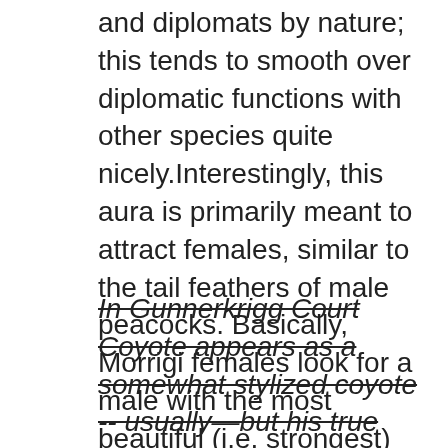and diplomats by nature; this tends to smooth over diplomatic functions with other species quite nicely.Interestingly, this aura is primarily meant to attract females, similar to the tail feathers of male peacocks. Basically, Morrigi females look for a male with the most beautiful (i.e. strongest) aura, while Morrigi males look for a female who can resist their aura.It is hinted that Yukari Yakumo of Touhou only appears to be a middle aged woman because she specifically altered herself to appear that way. Her gaps, tears in reality she uses for transportation, provide a glimpse of her original appearance, and it isn"t pretty.
In Gunnerkrigg Court Coyote appears as a somewhat stylized coyote -- usually—but his true form can be seen by the spiritually aware. Carefully, as it"s like picking out details on the sun. In El Goonish Shive, Pandora "Chaos" Raven seems to be trying to invert this trope by appearing as a little girl. What she says and does is more creepy that way. Though it seems that mostly she adopted it as more appropriate for childish things, like temper tantrumspoilers! Also played straight later as